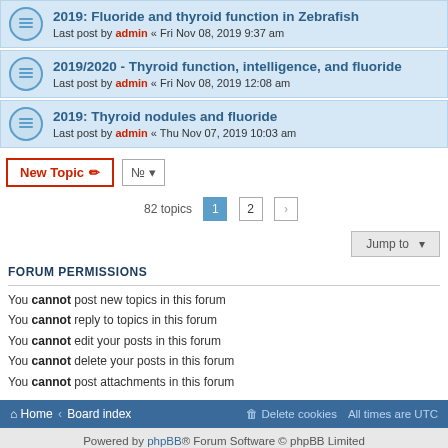2019: Fluoride and thyroid function in Zebrafish — Last post by admin « Fri Nov 08, 2019 9:37 am
2019/2020 - Thyroid function, intelligence, and fluoride — Last post by admin « Fri Nov 08, 2019 12:08 am
2019: Thyroid nodules and fluoride — Last post by admin « Thu Nov 07, 2019 10:03 am
82 topics  1  2  >
Jump to
FORUM PERMISSIONS
You cannot post new topics in this forum
You cannot reply to topics in this forum
You cannot edit your posts in this forum
You cannot delete your posts in this forum
You cannot post attachments in this forum
Home · Board index  |  Delete cookies  All times are UTC
Powered by phpBB® Forum Software © phpBB Limited  Privacy | Terms